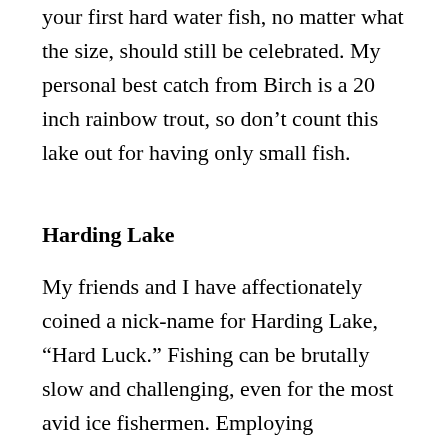your first hard water fish, no matter what the size, should still be celebrated. My personal best catch from Birch is a 20 inch rainbow trout, so don't count this lake out for having only small fish.
Harding Lake
My friends and I have affectionately coined a nick-name for Harding Lake, “Hard Luck.” Fishing can be brutally slow and challenging, even for the most avid ice fishermen. Employing expensive fish finding electronic gadgets or a fancy lure will not always promise a hook up, I roll more doughnuts fishing Harding than you